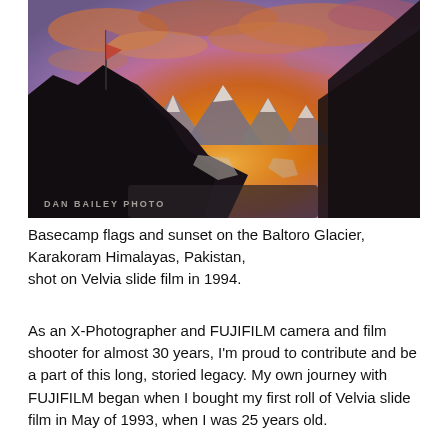[Figure (photo): Dramatic sunset photo at Baltoro Glacier, Karakoram Himalayas, Pakistan. Silhouetted rocky hillside in foreground with flags on a pole at upper left. Snow-capped mountain peaks visible in middle ground. Sky filled with orange, pink, and purple clouds. Watermark text 'DAN BAILEY PHOTO' at lower left.]
Basecamp flags and sunset on the Baltoro Glacier, Karakoram Himalayas, Pakistan, shot on Velvia slide film in 1994.
As an X-Photographer and FUJIFILM camera and film shooter for almost 30 years, I'm proud to contribute and be a part of this long, storied legacy. My own journey with FUJIFILM began when I bought my first roll of Velvia slide film in May of 1993, when I was 25 years old.